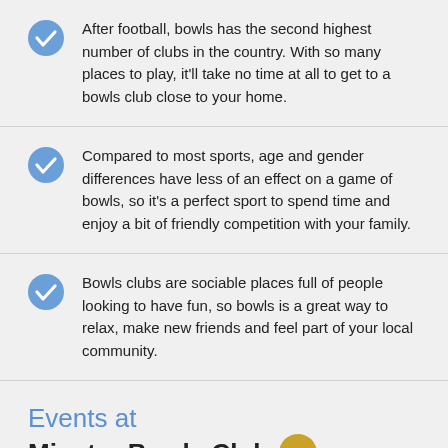After football, bowls has the second highest number of clubs in the country. With so many places to play, it'll take no time at all to get to a bowls club close to your home.
Compared to most sports, age and gender differences have less of an effect on a game of bowls, so it's a perfect sport to spend time and enjoy a bit of friendly competition with your family.
Bowls clubs are sociable places full of people looking to have fun, so bowls is a great way to relax, make new friends and feel part of your local community.
Events at Minster Bowls Club